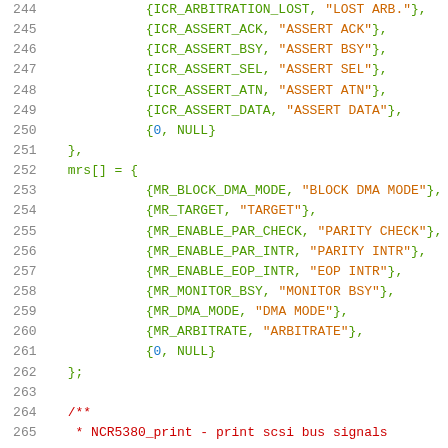[Figure (screenshot): Source code listing showing C code with line numbers 244-265. Lines show array initializer entries with constants and string literals for SCSI bus signal names, followed by a struct array definition for 'mrs[]' with DMA and interrupt mode entries, and the beginning of a comment block for NCR5380 print function.]